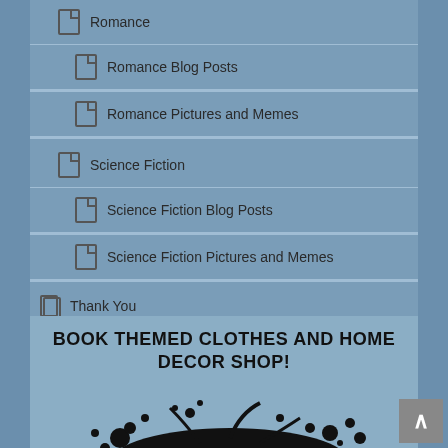Romance
Romance Blog Posts
Romance Pictures and Memes
Science Fiction
Science Fiction Blog Posts
Science Fiction Pictures and Memes
Thank You
WEE's Twitter Feed
Free Short Stories
Writing Advice Column
BOOK THEMED CLOTHES AND HOME DECOR SHOP!
[Figure (illustration): Colorful ink splat / paint explosion illustration for book themed shop]